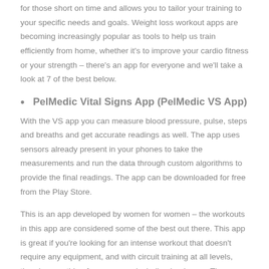for those short on time and allows you to tailor your training to your specific needs and goals. Weight loss workout apps are becoming increasingly popular as tools to help us train efficiently from home, whether it's to improve your cardio fitness or your strength – there's an app for everyone and we'll take a look at 7 of the best below.
PelMedic Vital Signs App (PelMedic VS App)
With the VS app you can measure blood pressure, pulse, steps and breaths and get accurate readings as well. The app uses sensors already present in your phones to take the measurements and run the data through custom algorithms to provide the final readings. The app can be downloaded for free from the Play Store.
This is an app developed by women for women – the workouts in this app are considered some of the best out there. This app is great if you're looking for an intense workout that doesn't require any equipment, and with circuit training at all levels, there's something for everyone, including beginners. The content of the app is easy to use and you can take advantage of the